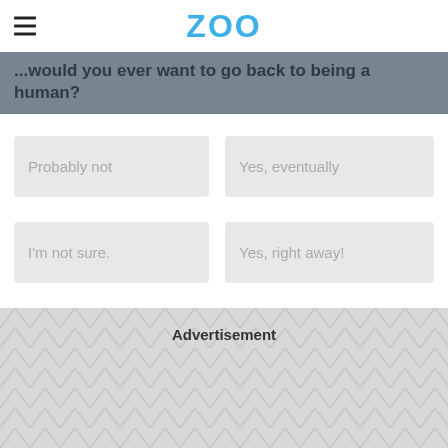ZOO
...would you ever want to go back to being a human?
Probably not
Yes, eventually
I'm not sure.
Yes, right away!
Advertisement